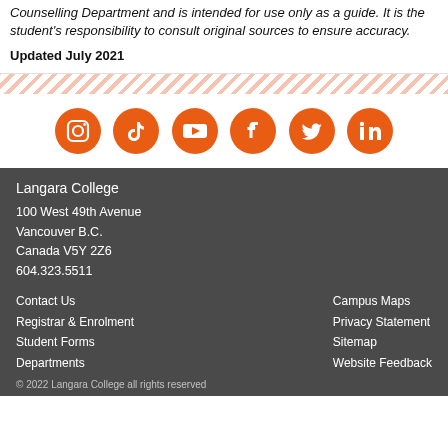Counselling Department and is intended for use only as a guide. It is the student's responsibility to consult original sources to ensure accuracy.
Updated July 2021
[Figure (infographic): Social media icons row: Instagram, TikTok, YouTube, Facebook, Twitter, LinkedIn — all orange circles with white icons]
Langara College
100 West 49th Avenue
Vancouver B.C.
Canada V5Y 2Z6
604.323.5511
Contact Us
Registrar & Enrolment
Student Forms
Departments
Campus Maps
Privacy Statement
Sitemap
Website Feedback
© 2022 Langara College all rights reserved